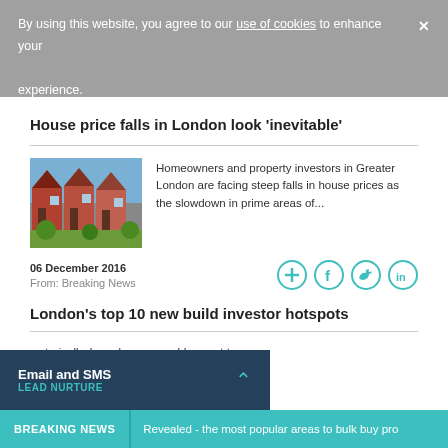By using this website, you agree to our use of cookies to enhance your experience.
House price falls in London look ‘inevitable’
[Figure (photo): Photo of brick terraced houses in Greater London]
Homeowners and property investors in Greater London are facing steep falls in house prices as the slowdown in prime areas of...
06 December 2016
From: Breaking News
London’s top 10 new build investor hotspots
...storically, homebuyers would expect to a brand new home. But in recent years,
Email and SMS LEAD NURTURE
BREAKING NEWS  Revealed - the most popular areas to bulk buy pro